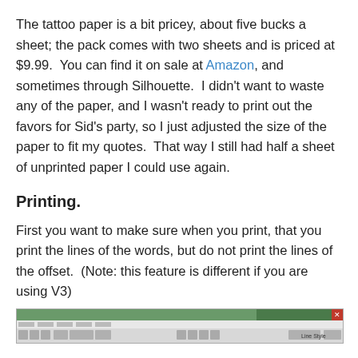The tattoo paper is a bit pricey, about five bucks a sheet; the pack comes with two sheets and is priced at $9.99.  You can find it on sale at Amazon, and sometimes through Silhouette.  I didn’t want to waste any of the paper, and I wasn’t ready to print out the favors for Sid’s party, so I just adjusted the size of the paper to fit my quotes.  That way I still had half a sheet of unprinted paper I could use again.
Printing.
First you want to make sure when you print, that you print the lines of the words, but do not print the lines of the offset.  (Note: this feature is different if you are using V3)
[Figure (screenshot): Screenshot of a software application window, showing a toolbar and interface at the top of the screen.]